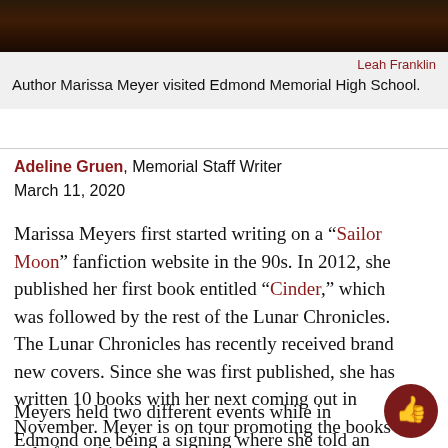[Figure (photo): Dark photo bar at top of page, showing a dimly lit scene]
Leah Franklin
Author Marissa Meyer visited Edmond Memorial High School.
Adeline Gruen, Memorial Staff Writer
March 11, 2020
Marissa Meyers first started writing on a “Sailor Moon” fanfiction website in the 90s. In 2012, she published her first book entitled “Cinder,” which was followed by the rest of the Lunar Chronicles. The Lunar Chronicles has recently received brand new covers. Since she was first published, she has written 10 books with her next coming out in November. Meyer is on tour promoting the books in only four cities.
Meyers held two different events while in Edmond one being a signing where she told an original